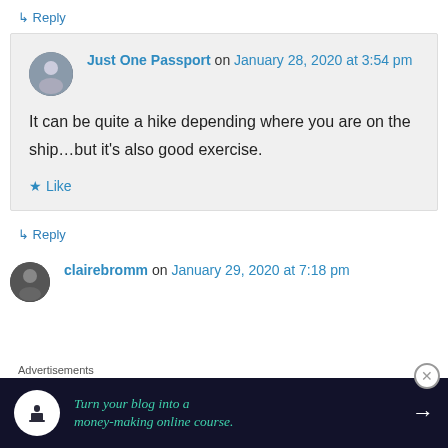↳ Reply
Just One Passport on January 28, 2020 at 3:54 pm

It can be quite a hike depending where you are on the ship...but it's also good exercise.

★ Like

↳ Reply
clairebromm on January 29, 2020 at 7:18 pm
Advertisements
[Figure (infographic): Advertisement banner: dark navy background with circular white icon showing a person at a lectern, teal text reading 'Turn your blog into a money-making online course.' with a white arrow pointing right.]